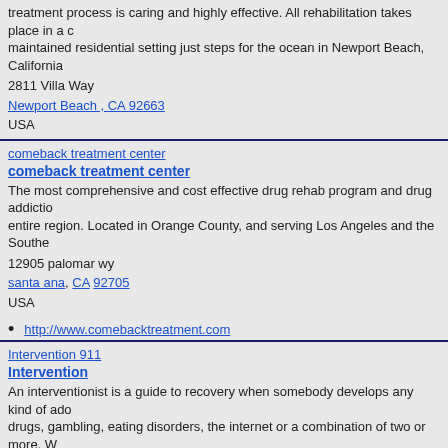treatment process is caring and highly effective. All rehabilitation takes place in a c maintained residential setting just steps for the ocean in Newport Beach, California 2811 Villa Way
Newport Beach , CA 92663
USA
comeback treatment center
comeback treatment center
The most comprehensive and cost effective drug rehab program and drug addictio entire region. Located in Orange County, and serving Los Angeles and the Southe
12905 palomar wy
santa ana, CA 92705
USA
http://www.comebacktreatment.com
Intervention 911
Intervention
An interventionist is a guide to recovery when somebody develops any kind of ado drugs, gambling, eating disorders, the internet or a combination of two or more. W you. 866-888-4911
170 North Vista St
Los Angeles, CA 90036
USA
Intervention
Miramarlagunabeach